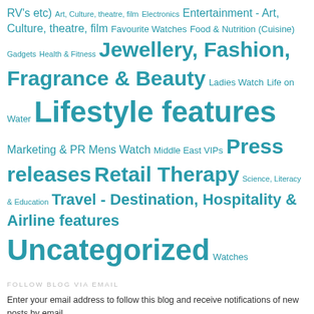RV's etc) Art, Culture, theatre, film Electronics Entertainment - Art, Culture, theatre, film Favourite Watches Food & Nutrition (Cuisine) Gadgets Health & Fitness Jewellery, Fashion, Fragrance & Beauty Ladies Watch Life on Water Lifestyle features Marketing & PR Mens Watch Middle East VIPs Press releases Retail Therapy Science, Literacy & Education Travel - Destination, Hospitality & Airline features Uncategorized Watches
FOLLOW BLOG VIA EMAIL
Enter your email address to follow this blog and receive notifications of new posts by email.